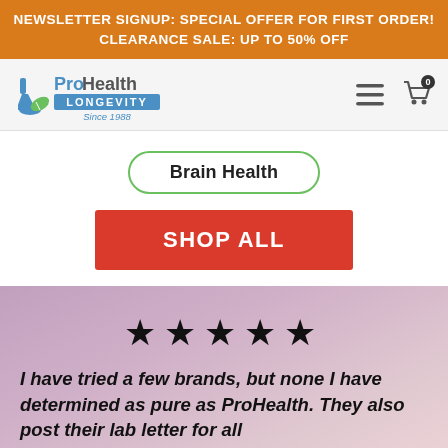NEWSLETTER SIGNUP: SPECIAL OFFER FOR FIRST ORDER! CLEARANCE SALE: UP TO 50% OFF
[Figure (logo): ProHealth Longevity logo — flask and leaf with text 'Pro Health Longevity Since 1988']
Brain Health
SHOP ALL
★★★★★
I have tried a few brands, but none I have determined as pure as ProHealth. They also post their lab letter for all